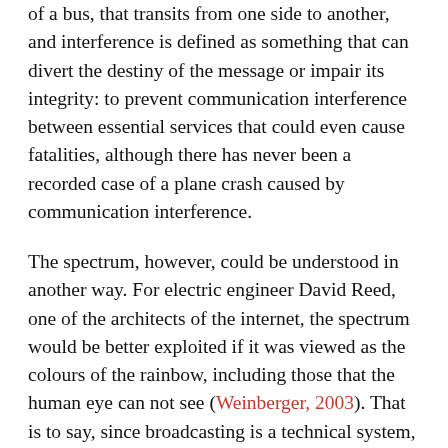of a bus, that transits from one side to another, and interference is defined as something that can divert the destiny of the message or impair its integrity: to prevent communication interference between essential services that could even cause fatalities, although there has never been a recorded case of a plane crash caused by communication interference.
The spectrum, however, could be understood in another way. For electric engineer David Reed, one of the architects of the internet, the spectrum would be better exploited if it was viewed as the colours of the rainbow, including those that the human eye can not see (Weinberger, 2003). That is to say, since broadcasting is a technical system, composed by many elements and technical groups that allow its operation, if new elements or sets are developed, we may have new communication systems with different characteristics of